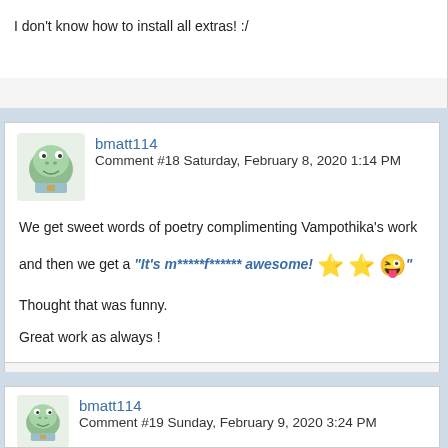I don't know how to install all extras! :/
bmatt114
Comment #18 Saturday, February 8, 2020 1:14 PM
We get sweet words of poetry complimenting Vampothika's work

and then we get a "It's m*****f****** awesome! ⭐⭐😄"

Thought that was funny.

Great work as always !
bmatt114
Comment #19 Sunday, February 9, 2020 3:24 PM